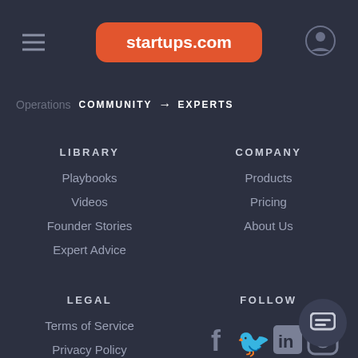startups.com
Operations  COMMUNITY → EXPERTS
LIBRARY
Playbooks
Videos
Founder Stories
Expert Advice
COMPANY
Products
Pricing
About Us
LEGAL
Terms of Service
Privacy Policy
FOLLOW
[Figure (illustration): Social media icons: Facebook, Twitter, LinkedIn, Instagram]